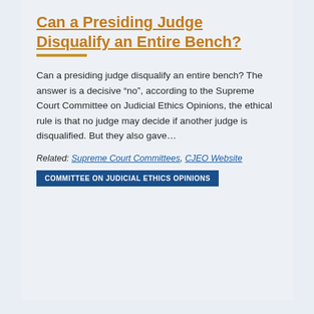Can a Presiding Judge Disqualify an Entire Bench?
Can a presiding judge disqualify an entire bench? The answer is a decisive “no”, according to the Supreme Court Committee on Judicial Ethics Opinions, the ethical rule is that no judge may decide if another judge is disqualified. But they also gave…
Related: Supreme Court Committees, CJEO Website
COMMITTEE ON JUDICIAL ETHICS OPINIONS